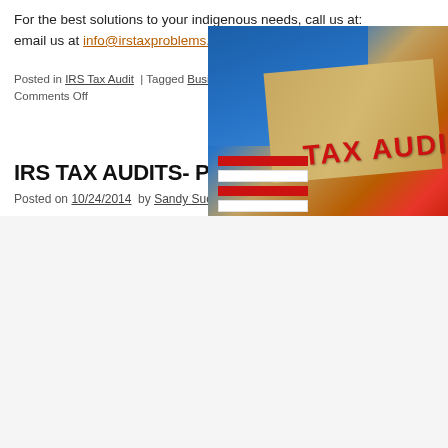For the best solutions to your indigenous needs, call us at: email us at info@irstaxproblems.com .
Posted in IRS Tax Audit | Tagged Business Tax Audit , IRS Problem Help , Comments Off
IRS TAX AUDITS- PART IV
Posted on 10/24/2014 by Sandy Suchoff
[Figure (photo): Photo of a person holding a manila envelope stamped with TAX AUDIT in red, wearing blue clothing, with red and white stripes visible at the bottom, partially cropped on the right side.]